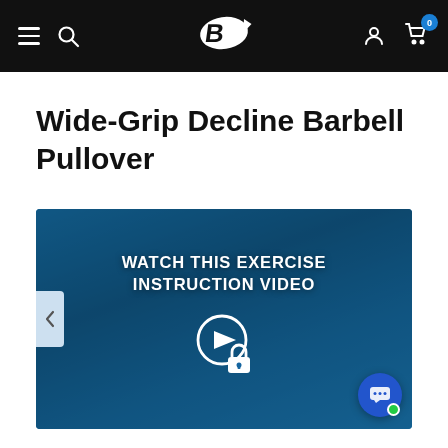Bodybuilding.com navigation bar with menu, search, logo, user account, and cart (0 items)
Wide-Grip Decline Barbell Pullover
[Figure (screenshot): Video thumbnail with teal/blue background showing gym equipment silhouette. Text reads 'WATCH THIS EXERCISE INSTRUCTION VIDEO' with a play button icon overlaid with a lock icon.]